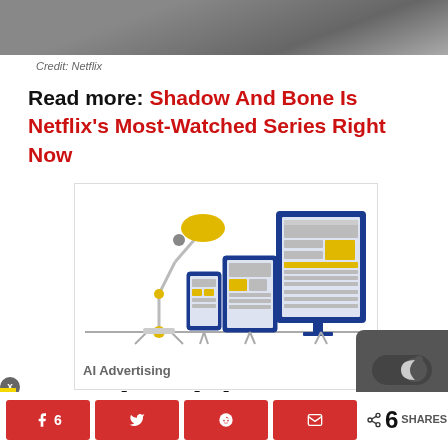[Figure (photo): Partial photo visible at top, likely a person]
Credit: Netflix
Read more: Shadow And Bone Is Netflix's Most-Watched Series Right Now
[Figure (illustration): AI Advertising illustration showing a desk lamp, smartphone, tablet, and desktop monitor with webpage layouts]
AI Advertising
6  SHARES  [Facebook] [Twitter] [Reddit] [Email]